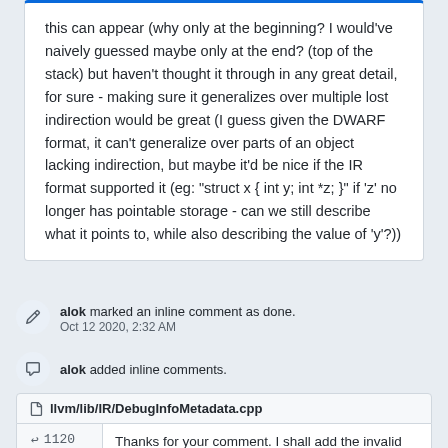this can appear (why only at the beginning? I would've naively guessed maybe only at the end? (top of the stack) but haven't thought it through in any great detail, for sure - making sure it generalizes over multiple lost indirection would be great (I guess given the DWARF format, it can't generalize over parts of an object lacking indirection, but maybe it'd be nice if the IR format supported it (eg: "struct x { int y; int *z; }" if 'z' no longer has pointable storage - can we still describe what it points to, while also describing the value of 'y'?))
alok marked an inline comment as done. Oct 12 2020, 2:32 AM
alok added inline comments.
llvm/lib/IR/DebugInfoMetadata.cpp
1120  Thanks for your comment. I shall add the invalid test cases.